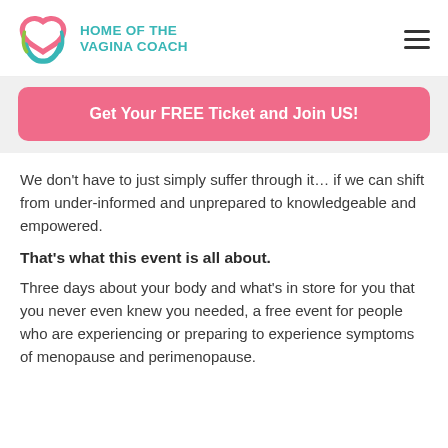[Figure (logo): Home of the Vagina Coach logo with pink and green swoosh icon and teal uppercase text]
Get Your FREE Ticket and Join US!
We don't have to just simply suffer through it… if we can shift from under-informed and unprepared to knowledgeable and empowered.
That's what this event is all about.
Three days about your body and what's in store for you that you never even knew you needed, a free event for people who are experiencing or preparing to experience symptoms of menopause and perimenopause.